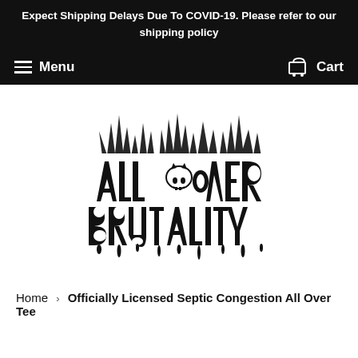Expect Shipping Delays Due To COVID-19. Please refer to our shipping policy
Menu  Cart
[Figure (logo): All Over Brutality death metal style logo with skull and flame/dripping lettering in black and white]
Home  >  Officially Licensed Septic Congestion All Over Tee